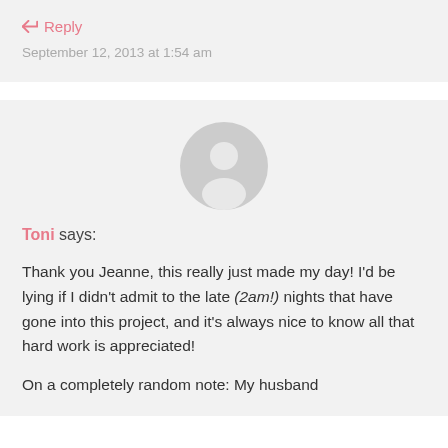↩ Reply
September 12, 2013 at 1:54 am
[Figure (illustration): Default user avatar — grey circle with a person silhouette]
Toni says:
Thank you Jeanne, this really just made my day! I'd be lying if I didn't admit to the late (2am!) nights that have gone into this project, and it's always nice to know all that hard work is appreciated!
On a completely random note: My husband